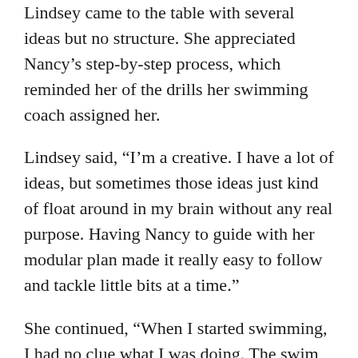Lindsey came to the table with several ideas but no structure. She appreciated Nancy's step-by-step process, which reminded her of the drills her swimming coach assigned her.
Lindsey said, “I’m a creative. I have a lot of ideas, but sometimes those ideas just kind of float around in my brain without any real purpose. Having Nancy to guide with her modular plan made it really easy to follow and tackle little bits at a time.”
She continued, “When I started swimming, I had no clue what I was doing. The swim coach said, ‘Okay, I want you to swim the length of the pool without using your legs—just your arms.’ Then, later, he had me swim by skimming my fingertips on the top of the water. When you work on one small thing at a time, it’s easier to put the whole thing together into one natural motion.